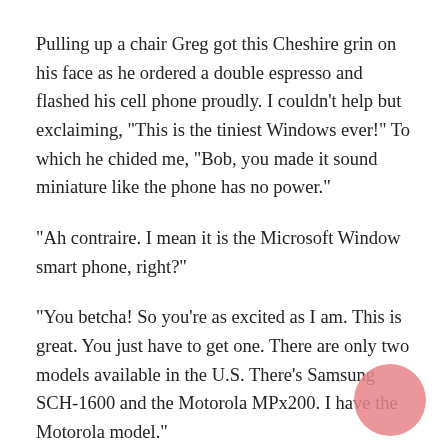Pulling up a chair Greg got this Cheshire grin on his face as he ordered a double espresso and flashed his cell phone proudly. I couldn't help but exclaiming, "This is the tiniest Windows ever!" To which he chided me, "Bob, you made it sound miniature like the phone has no power."
"Ah contraire. I mean it is the Microsoft Window smart phone, right?"
"You betcha! So you're as excited as I am. This is great. You just have to get one. There are only two models available in the U.S. There's Samsung SCH-1600 and the Motorola MPx200. I have the Motorola model."
"Greg, is it better than using my Nokia cell phone with its graphical user interfaces, applications, utilities, games,